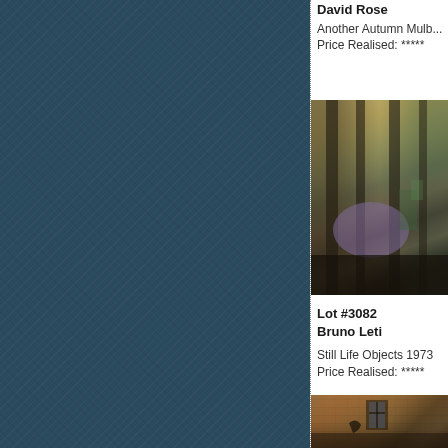[Figure (photo): Dark teal/navy textured fabric or cloth background filling the left two-thirds of the page]
David Rose
Another Autumn Mulb...
Price Realised: *****
[Figure (photo): Abstract or interior painting with vertical dark stripes, muted gold/yellow background, purple and dark shapes in the lower portion — Bruno Leti artwork]
Lot #3082
Bruno Leti
Still Life Objects 1973
Price Realised: *****
[Figure (photo): Partial view of a painting showing an old ochre/orange-toned building wall with a dark window, partially visible at the bottom of the page]